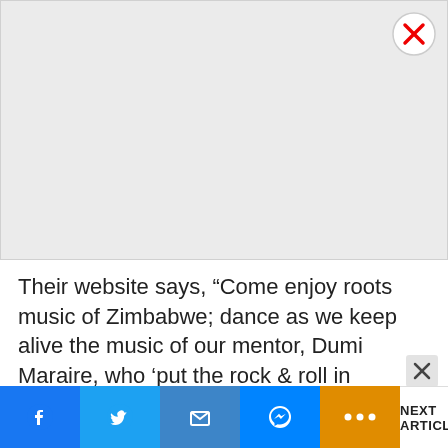[Figure (other): Gray advertisement placeholder box with a red-circle X close button in the top-right corner]
Their website says, “Come enjoy roots music of Zimbabwe; dance as we keep alive the music of our mentor, Dumi Maraire, who ‘put the rock & roll in marimba!’ Listen as we branch out into the songs of Peter and Raven
[Figure (infographic): Social share bar with Facebook, Twitter, Email, Messenger, More buttons and a NEXT ARTICLE link]